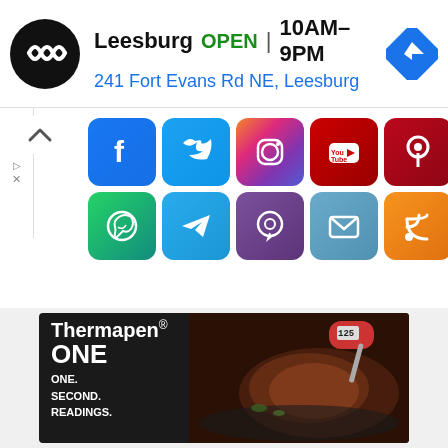[Figure (screenshot): Store listing ad: Leesburg location, OPEN 10AM-9PM, address 241 Fort Evans Rd NE Leesburg, with directions button]
[Figure (infographic): Social media icons grid: Facebook, Twitter, Instagram, YouTube, Pinterest (row 1); WhatsApp, Telegram, Viber, Email, RSS (row 2)]
[Figure (photo): Thermapen ONE advertisement showing red thermometer reading 125 inserted into cooking steak in cast iron pan, text: Thermapen ONE. ONE. SECOND. READINGS.]